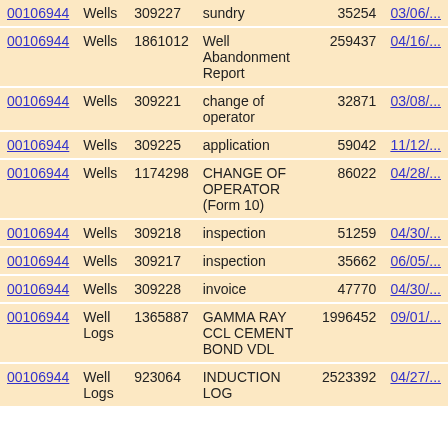| ID | Category | Doc# | Description | Size | Date |
| --- | --- | --- | --- | --- | --- |
| 00106944 | Wells | 309227 | sundry | 35254 | 03/06/... |
| 00106944 | Wells | 1861012 | Well Abandonment Report | 259437 | 04/16/... |
| 00106944 | Wells | 309221 | change of operator | 32871 | 03/08/... |
| 00106944 | Wells | 309225 | application | 59042 | 11/12/... |
| 00106944 | Wells | 1174298 | CHANGE OF OPERATOR (Form 10) | 86022 | 04/28/... |
| 00106944 | Wells | 309218 | inspection | 51259 | 04/30/... |
| 00106944 | Wells | 309217 | inspection | 35662 | 06/05/... |
| 00106944 | Wells | 309228 | invoice | 47770 | 04/30/... |
| 00106944 | Well Logs | 1365887 | GAMMA RAY CCL CEMENT BOND VDL | 1996452 | 09/01/... |
| 00106944 | Well Logs | 923064 | INDUCTION LOG | 2523392 | 04/27/... |